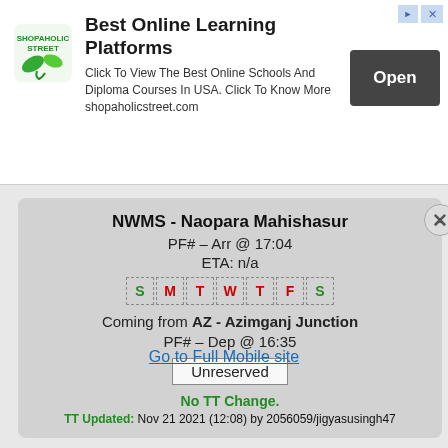[Figure (screenshot): Advertisement banner for Shopaholic Street - Best Online Learning Platforms with Open button]
NWMS - Naopara Mahishasur
PF# – Arr @ 17:04
ETA: n/a
S M T W T F S (days of week with S highlighted in green, others in red/green)
Coming from AZ - Azimganj Junction
PF# – Dep @ 16:35
Unreserved
No TT Change.
TT Updated: Nov 21 2021 (12:08) by 2056059/jigyasusingh47
Go to Full Mobile site